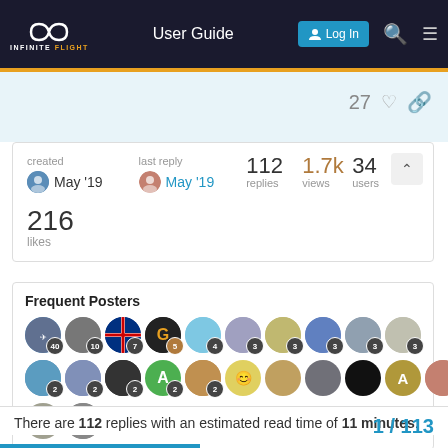Infinite Flight — User Guide | Log In
27 (likes) (link)
created May '19 | last reply May '19 | 112 replies | 1.7k views | 34 users
216 likes
Frequent Posters
[Figure (other): Grid of user avatar circles with post count badges: row 1 counts 40,10,7,5,4,3,3,3,3,3,3; row 2 counts 2,2,2,2,2 then unlabeled avatars; row 3 two more avatars]
There are 112 replies with an estimated read time of 11 minutes.
1 / 113